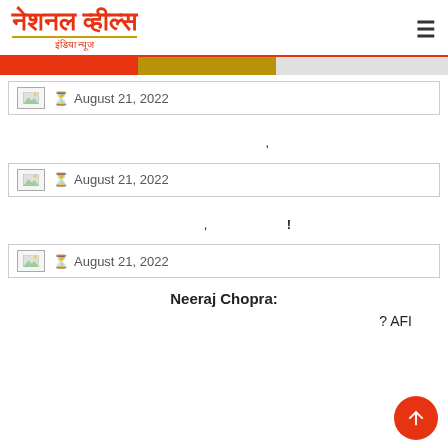नेशनल व्हील्स इंडिया न्यूज
August 21, 2022
,
August 21, 2022
, !
August 21, 2022
Neeraj Chopra:
? AFI